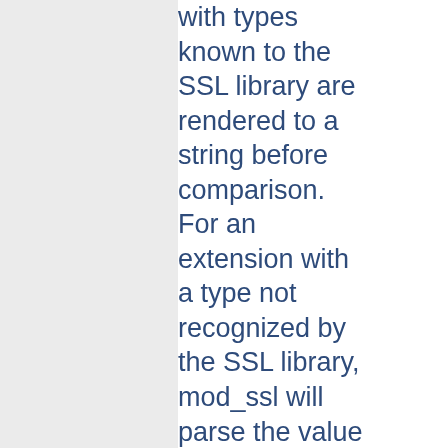with types known to the SSL library are rendered to a string before comparison. For an extension with a type not recognized by the SSL library, mod_ssl will parse the value if it is one of the primitive ASN.1 types UTF8String,